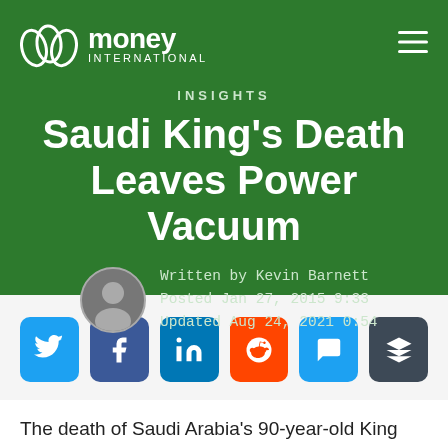money INTERNATIONAL
INSIGHTS
Saudi King's Death Leaves Power Vacuum
Written by Kevin Barnett
Posted Jan 27, 2015 9:33
Updated Aug 24, 2021 0:54
[Figure (infographic): Social share buttons: Twitter, Facebook, LinkedIn, Reddit, Comment, Buffer]
The death of Saudi Arabia's 90-year-old King